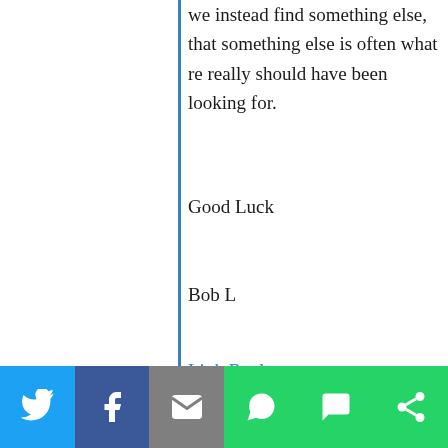we instead find something else, that something else is often what re really should have been looking for.
Good Luck
Bob L
Link Reply
Wade Shepard
“I think when we are looking for something, we